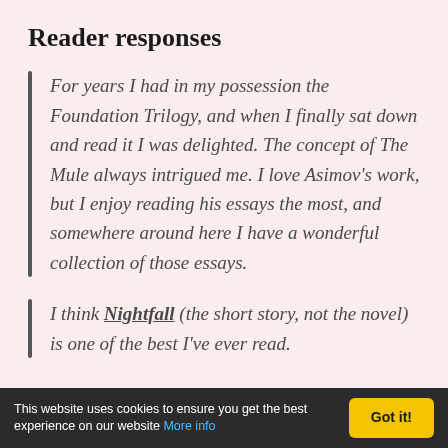Reader responses
For years I had in my possession the Foundation Trilogy, and when I finally sat down and read it I was delighted. The concept of The Mule always intrigued me. I love Asimov’s work, but I enjoy reading his essays the most, and somewhere around here I have a wonderful collection of those essays.
I think Nightfall (the short story, not the novel) is one of the best I’ve ever read.
This website uses cookies to ensure you get the best experience on our website More info  Got it!